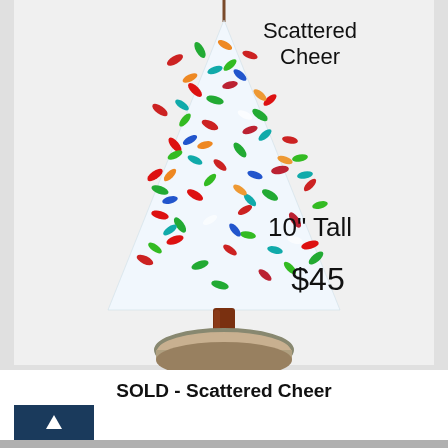[Figure (photo): A fused glass Christmas tree ornament titled 'Scattered Cheer', triangular shape with colorful scattered glass pieces (red, green, blue, multicolor), mounted on a brown glass rod stem and natural wood slice base. Text on image: 'Scattered Cheer', '10" Tall', '$45'.]
SOLD - Scattered Cheer